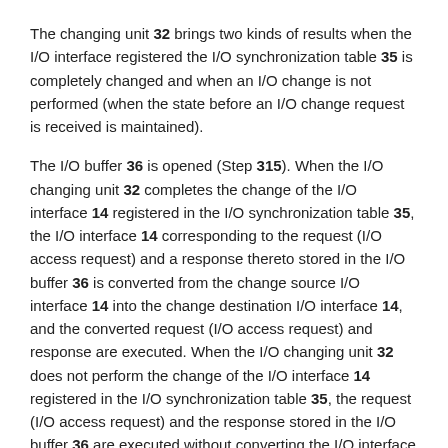The changing unit 32 brings two kinds of results when the I/O interface registered the I/O synchronization table 35 is completely changed and when an I/O change is not performed (when the state before an I/O change request is received is maintained).
The I/O buffer 36 is opened (Step 315). When the I/O changing unit 32 completes the change of the I/O interface 14 registered in the I/O synchronization table 35, the I/O interface 14 corresponding to the request (I/O access request) and a response thereto stored in the I/O buffer 36 is converted from the change source I/O interface 14 into the change destination I/O interface 14, and the converted request (I/O access request) and response are executed. When the I/O changing unit 32 does not perform the change of the I/O interface 14 registered in the I/O synchronization table 35, the request (I/O access request) and the response stored in the I/O buffer 36 are executed without converting the I/O interface 14 (the change source I/O interface 14). In this way, the I/O buffer 36 is opened (empty) with the execution of the request (I/O access request) and the response.
The I/O interfaces to be changed (both the change source and change destination I/O interfaces) are deleted from the I/O synchronization table 35 (Step 316). The term ‘I/O interfaces to be changed’ is used because the I/O change may succeed or fail. The management server 20 is notified of the